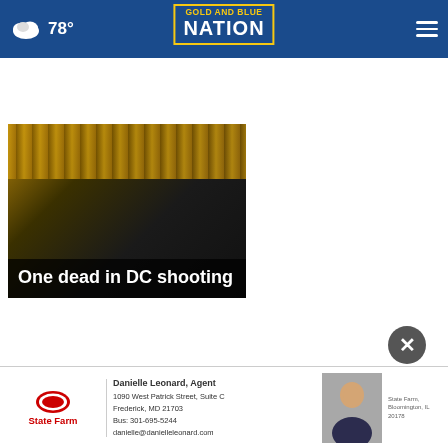78° Gold and Blue Nation
[Figure (photo): News card showing a dark image with a headline overlay reading 'One dead in DC shooting']
One dead in DC shooting
[Figure (infographic): State Farm advertisement banner showing Danielle Leonard, Agent at 1090 West Patrick Street, Suite C, Frederick, MD 21703, Bus: 301-695-5244, danielle@danielleleonard.com, with agent photo and State Farm logo]